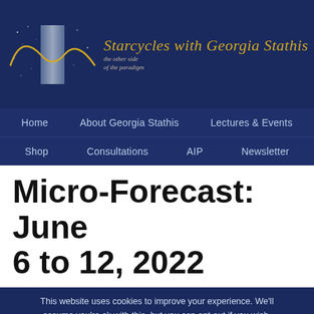[Figure (logo): Starcycles with Georgia Stathis logo: sine wave graphic on dark blue background with golden script text reading 'Starcycles with Georgia Stathis' and subtitle 'the other side of the paradigm']
Home | About Georgia Stathis | Lectures & Events | Shop | Consultations | AIP | Newsletter
Micro-Forecast: June 6 to 12, 2022
This website uses cookies to improve your experience. We'll assume you're ok with this, but you can opt-out if you wish. Cookie settings Reject ACCEPT StarCycles Cookie Policy